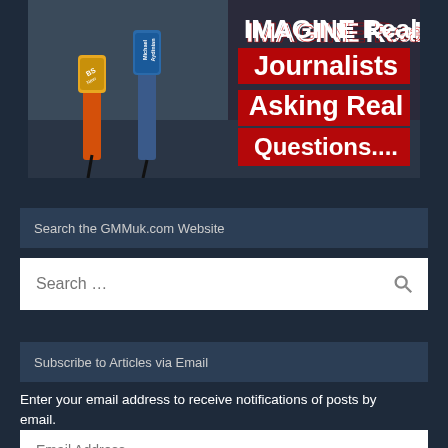[Figure (photo): Meme image of journalists holding microphones (labeled 'BS News' and 'Michael Aydinian') with text overlay: 'IMAGINE Real Journalists Asking Real Questions....' on a dark background showing a man in a suit]
Search the GMMuk.com Website
Search ...
Subscribe to Articles via Email
Enter your email address to receive notifications of posts by email.
Email Address